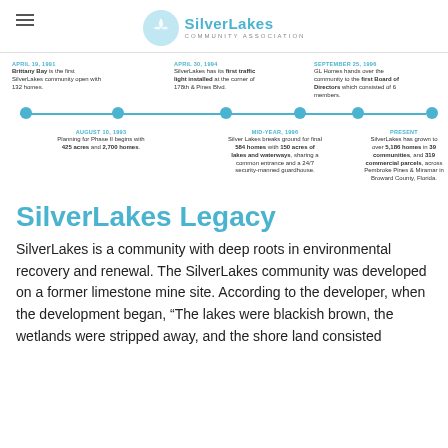SilverLakes Community Association
[Figure (infographic): Horizontal timeline showing 6 key dates in SilverLakes history: April 19, 1991 - Brittany Bay is the first SilverLakes community open with 132 homes; August 10, 1993 - Planning for Phase II begins with 425 acres and 2,700 homes; April 30, 1994 - SilverLakes has its first traffic light installed at the corner of 178th & Pines Blvd.; Mid-Year, 1996 - Silver Lakes breaks ground for final 584 homes with 150 acres of lakes and waterways, sharing a common entrance and a 24/7 security-manned guardhouse; September 25, 1996 - GL Homes hands over the community to the first Board of Directors which consisted of 6 members; Present - SilverLakes has grown to over 5,186 homes in 39 communities, and 319 commercial parcels, across Pembroke Pines & Miramar in Broward County, Florida.]
SilverLakes Legacy
SilverLakes is a community with deep roots in environmental recovery and renewal. The SilverLakes community was developed on a former limestone mine site. According to the developer, when the development began, "The lakes were blackish brown, the wetlands were stripped away, and the shore land consisted